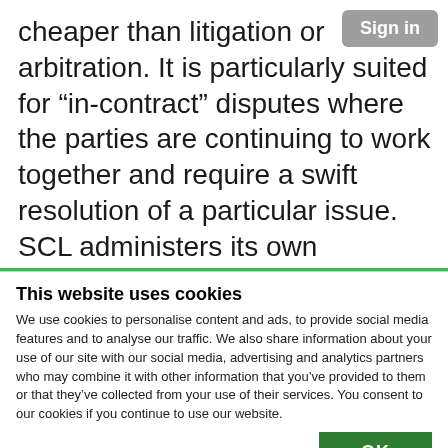cheaper than litigation or arbitration. It is particularly suited for “in-contract” disputes where the parties are continuing to work together and require a swift resolution of a particular issue. SCL administers its own adjudication scheme for disputes arising from contracts for the provision of tech-related goods and services³ – it provides for a determination
This website uses cookies
We use cookies to personalise content and ads, to provide social media features and to analyse our traffic. We also share information about your use of our site with our social media, advertising and analytics partners who may combine it with other information that you’ve provided to them or that they’ve collected from your use of their services. You consent to our cookies if you continue to use our website.